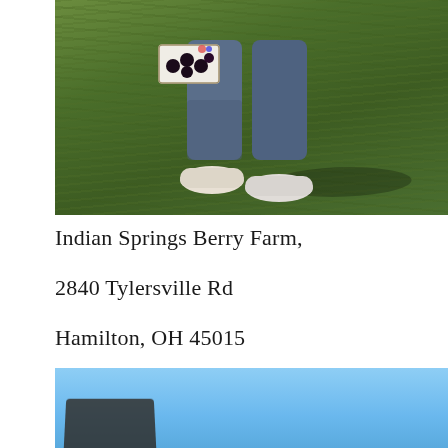[Figure (photo): Person standing on green grass holding a flat of dark berries, wearing blue jeans and white sneakers. Only lower body visible.]
Indian Springs Berry Farm,
2840 Tylersville Rd
Hamilton, OH 45015
[Figure (photo): Partial photo showing blue sky background with a dark object (possibly a sign or container) at bottom.]